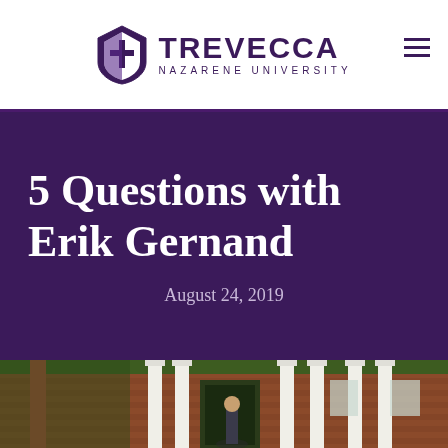Trevecca Nazarene University
5 Questions with Erik Gernand
August 24, 2019
[Figure (photo): Brick university building with white columns at the entrance, green trees visible, photographed from outside]